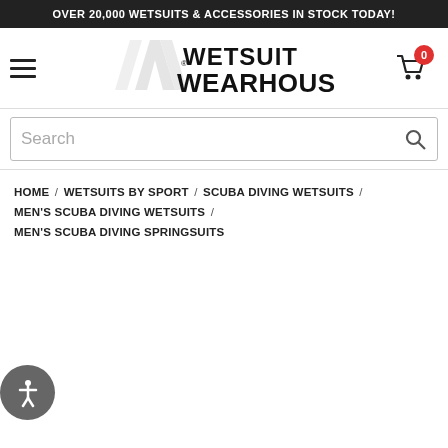OVER 20,000 WETSUITS & ACCESSORIES IN STOCK TODAY!
[Figure (logo): Wetsuit Wearhouse logo with stylized W graphic and bold text reading WETSUIT WEARHOUSE with registered trademark symbol]
Search
HOME / WETSUITS BY SPORT / SCUBA DIVING WETSUITS / MEN'S SCUBA DIVING WETSUITS / MEN'S SCUBA DIVING SPRINGSUITS